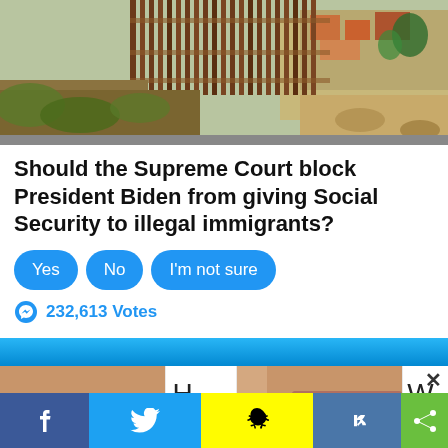[Figure (photo): Border fence/wall separating two areas with dry brush and scrubland on one side and residential buildings visible on the other side]
Should the Supreme Court block President Biden from giving Social Security to illegal immigrants?
Yes
No
I'm not sure
232,613 Votes
[Figure (photo): Partial view of face with teeth visible, advertisement carousel]
[Figure (photo): Partial view of face/chin, advertisement carousel]